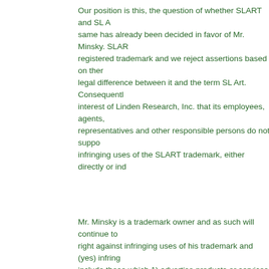Our position is this, the question of whether SLART and SL Art are the same has already been decided in favor of Mr. Minsky. SLART is a registered trademark and we reject assertions based on there being no legal difference between it and the term SL Art. Consequently, it is in the interest of Linden Research, Inc. that its employees, agents, representatives and other responsible persons do not support or facilitate infringing uses of the SLART trademark, either directly or indirectly.
Mr. Minsky is a trademark owner and as such will continue to exercise his right against infringing uses of his trademark and (yes) infringing uses include those which 1) advertise products or services that may be identified by the use of non-infringing terms (such as SL Art or SLArt), or 2) may be construed as suggesting his sponsorship or endorsement.
Ms. Pirri wrote back a long rambling letter continuing to claim SL Art and SLART were the same, that it was descriptive; that I must abandon my trademark; that I must license their trademark. She wrote “We don’t recognize your trademark claim to “SLArt,” nor will we prevent others from making fair use of our trademarks to describe art in Second Life.”
On July 11 I again searched for SLart Garden and this time I found it. I can’t tell whether it had gone and come back, or had not showed up for me in SL Search because of defects in the SL search process or other malfunctions in the SL system. SL is in constant development, with server software and client software being changed frequently, many bugs, crashes, disappearances,